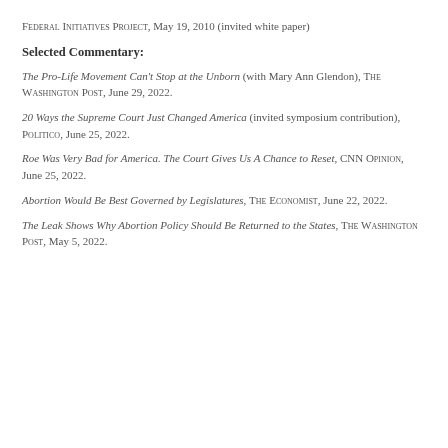Federal Initiatives Project, May 19, 2010 (invited white paper)
Selected Commentary:
The Pro-Life Movement Can't Stop at the Unborn (with Mary Ann Glendon), The Washington Post, June 29, 2022.
20 Ways the Supreme Court Just Changed America (invited symposium contribution), Politico, June 25, 2022.
Roe Was Very Bad for America. The Court Gives Us A Chance to Reset, CNN Opinion, June 25, 2022.
Abortion Would Be Best Governed by Legislatures, The Economist, June 22, 2022.
The Leak Shows Why Abortion Policy Should Be Returned to the States, The Washington Post, May 5, 2022.